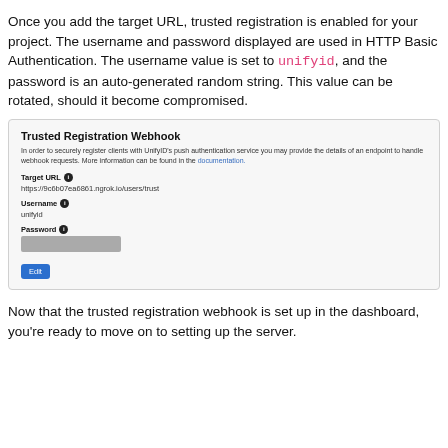Once you add the target URL, trusted registration is enabled for your project. The username and password displayed are used in HTTP Basic Authentication. The username value is set to unifyid, and the password is an auto-generated random string. This value can be rotated, should it become compromised.
[Figure (screenshot): Screenshot of Trusted Registration Webhook configuration panel showing Target URL field with value https://9c6b07ea6861.ngrok.io/users/trust, Username field showing 'unifyid', Password field showing a hidden/masked value (grey bar), and an Edit button.]
Now that the trusted registration webhook is set up in the dashboard, you're ready to move on to setting up the server.